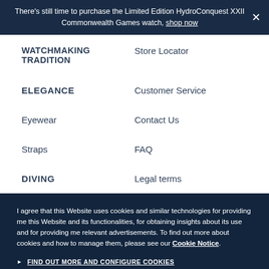There's still time to purchase the Limited Edition HydroConquest XXII Commonwealth Games watch, shop now
WATCHMAKING TRADITION
Store Locator
ELEGANCE
Customer Service
Eyewear
Contact Us
Straps
FAQ
DIVING
Legal terms
I agree that this Website uses cookies and similar technologies for providing me this Website and its functionalities, for obtaining insights about its use and for providing me relevant advertisements. To find out more about cookies and how to manage them, please see our Cookie Notice.
FIND OUT MORE AND CONFIGURE COOKIES
DECLINE
ACCEPT